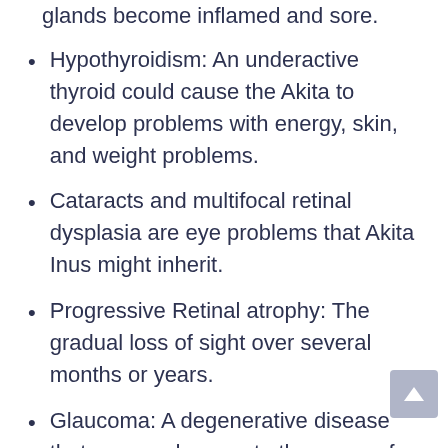glands become inflamed and sore.
Hypothyroidism: An underactive thyroid could cause the Akita to develop problems with energy, skin, and weight problems.
Cataracts and multifocal retinal dysplasia are eye problems that Akita Inus might inherit.
Progressive Retinal atrophy: The gradual loss of sight over several months or years.
Glaucoma: A degenerative disease that causes damage to the nerve of the Akita’s eye.
Entropion: Inward rolling of the eyelids, which causes constant irritation and pain to the eye.